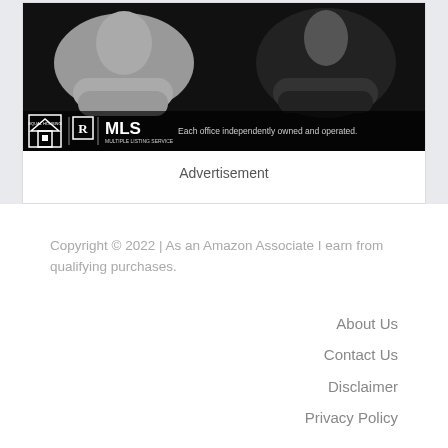[Figure (photo): Real estate advertisement photo showing two people with arms crossed against a dark background, with equal housing, Realtor, and MLS logos, and text 'Each office independently owned and operated.']
Advertisement
Copyright © 2022 | As an Amazon Associate I earn from qualifying purchases.
About Us
Contact Us
Disclaimer
Privacy Policy